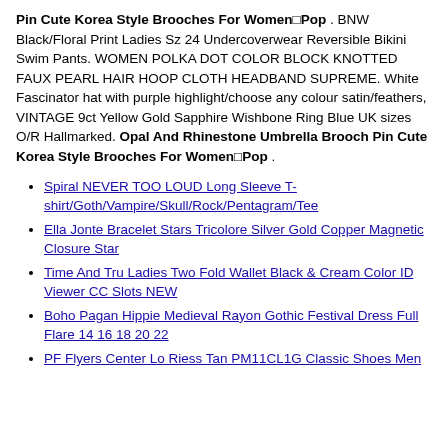Pin Cute Korea Style Brooches For Women Pop . BNW Black/Floral Print Ladies Sz 24 Undercoverwear Reversible Bikini Swim Pants. WOMEN POLKA DOT COLOR BLOCK KNOTTED FAUX PEARL HAIR HOOP CLOTH HEADBAND SUPREME. White Fascinator hat with purple highlight/choose any colour satin/feathers, VINTAGE 9ct Yellow Gold Sapphire Wishbone Ring Blue UK sizes O/R Hallmarked. Opal And Rhinestone Umbrella Brooch Pin Cute Korea Style Brooches For Women Pop .
Spiral NEVER TOO LOUD Long Sleeve T-shirt/Goth/Vampire/Skull/Rock/Pentagram/Tee
Ella Jonte Bracelet Stars Tricolore Silver Gold Copper Magnetic Closure Star
Time And Tru Ladies Two Fold Wallet Black & Cream Color ID Viewer CC Slots NEW
Boho Pagan Hippie Medieval Rayon Gothic Festival Dress Full Flare 14 16 18 20 22
PF Flyers Center Lo Riess Tan PM11CL1G Classic Shoes Men